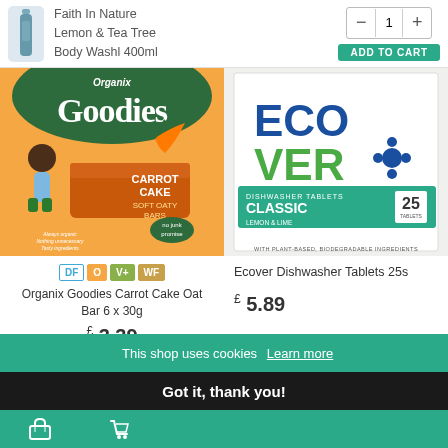Faith In Nature Lemon & Tea Tree Body Washl 400ml
[Figure (screenshot): Organix Goodies Carrot Cake Soft Oaty Bars product image on orange background]
[Figure (screenshot): Ecover Dishwasher Tablets Classic 25 product image on white background]
Organix Goodies Carrot Cake Oat Bar 6 x 30g
£ 3.39
Ecover Dishwasher Tablets 25s
£ 5.89
This shop uses cookies Learn more
Got it, thank you!